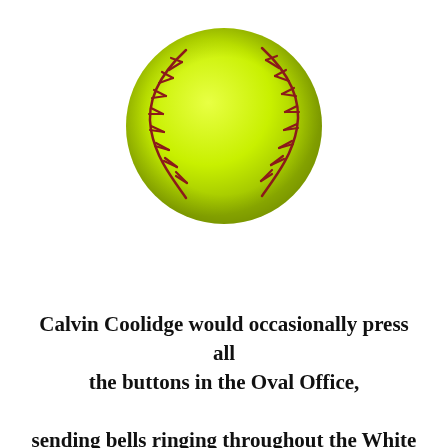[Figure (illustration): A yellow-green softball with red stitching, viewed slightly from above and to the left, on a white background.]
Calvin Coolidge would occasionally press all the buttons in the Oval Office,

sending bells ringing throughout the White